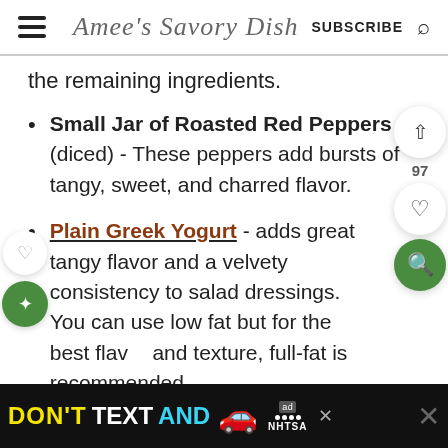Amee's Savory Dish  SUBSCRIBE
the remaining ingredients.
Small Jar of Roasted Red Peppers (diced) - These peppers add bursts of tangy, sweet, and charred flavor.
Plain Greek Yogurt - adds great tangy flavor and a velvety consistency to salad dressings. You can use low fat but for the best flavor and texture, full-fat is recommended.
[Figure (other): Advertisement banner: DON'T TEXT AND [car emoji] with NHTSA ad branding and close button]